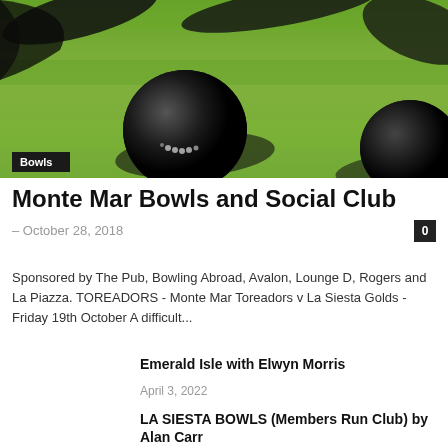[Figure (photo): Close-up photo of black lawn bowls on a green grass surface with shadows, with a dark label 'Bowls' in the bottom-left corner]
Monte Mar Bowls and Social Club
– October 28, 2018
Sponsored by The Pub, Bowling Abroad, Avalon, Lounge D, Rogers and La Piazza. TOREADORS - Monte Mar Toreadors v La Siesta Golds - Friday 19th October A difficult...
Emerald Isle with Elwyn Morris
April 3, 2022
LA SIESTA BOWLS (Members Run Club) by Alan Carr